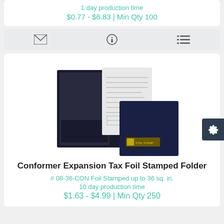1 day production time
$0.77 - $6.83 | Min Qty 100
[Figure (screenshot): Three icons in a gray bar: envelope, info circle, and list/menu icon]
[Figure (photo): Photo of a Conformer Expansion Tax Foil Stamped Folder shown open (black interior with pockets and documents) and closed (dark navy cover with gold foil stamp logo)]
Conformer Expansion Tax Foil Stamped Folder
# 08-36-CON Foil Stamped up to 36 sq. in.
10 day production time
$1.63 - $4.99 | Min Qty 250